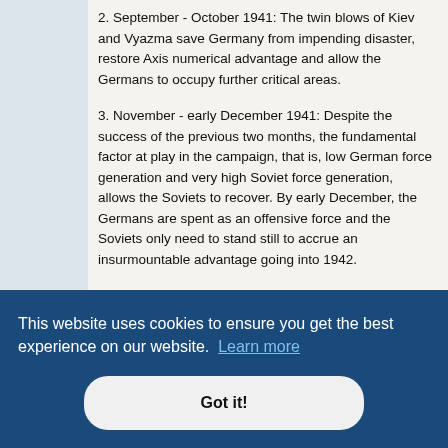2. September - October 1941: The twin blows of Kiev and Vyazma save Germany from impending disaster, restore Axis numerical advantage and allow the Germans to occupy further critical areas.
3. November - early December 1941: Despite the success of the previous two months, the fundamental factor at play in the campaign, that is, low German force generation and very high Soviet force generation, allows the Soviets to recover. By early December, the Germans are spent as an offensive force and the Soviets only need to stand still to accrue an insurmountable advantage going into 1942.
4. Mid-December 1941 - April 1942: Stalin snatches defeat from the jaws of victory by repeatedly impaling his forces on the German defensive front, thus allowing unfavorable casualty ratios to forestall the RKKA gaining a definite edge. The Germans stabilize their position after transferring strong forces from the OKW theaters.
...KA still ...as been ...mans. As ...al ...viet ...their cards right, the Soviet war effort will enter terminal decline through
[Figure (screenshot): Cookie consent banner overlay reading: 'This website uses cookies to ensure you get the best experience on our website. Learn more' with a 'Got it!' button.]